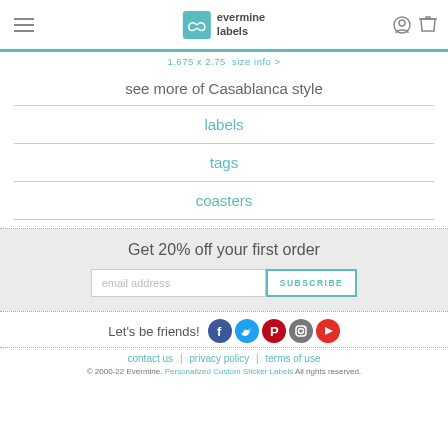evermine labels
1.675 x 2.75  size info >
see more of Casablanca style
labels
tags
coasters
Get 20% off your first order
email address  SUBSCRIBE
Let's be friends!
contact us  |  privacy policy  |  terms of use
© 2000-22 Evermine. Personalized Custom Sticker Labels All rights reserved.